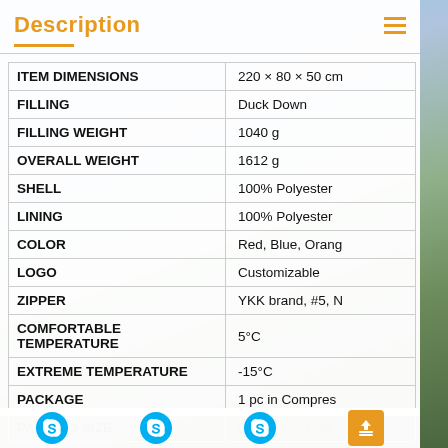Description
| Property | Value |
| --- | --- |
| ITEM DIMENSIONS | 220 × 80 × 50 cm |
| FILLING | Duck Down |
| FILLING WEIGHT | 1040 g |
| OVERALL WEIGHT | 1612 g |
| SHELL | 100% Polyester |
| LINING | 100% Polyester |
| COLOR | Red, Blue, Orange |
| LOGO | Customizable |
| ZIPPER | YKK brand, #5, N |
| COMFORTABLE TEMPERATURE | 5°C |
| EXTREME TEMPERATURE | -15°C |
| PACKAGE | 1 pc in Compress |
| PACKING SIZE | Dia 25 cm, L 42 c |